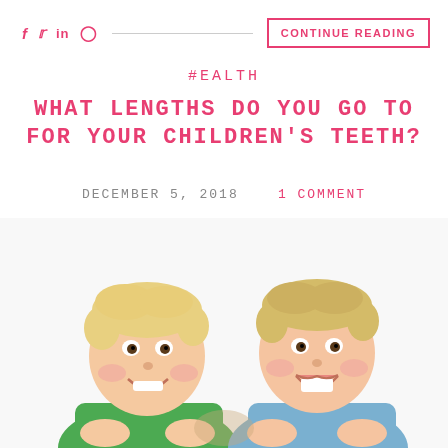f  in  p  —————————————  CONTINUE READING
HEALTH
WHAT LENGTHS DO YOU GO TO FOR YOUR CHILDREN'S TEETH?
DECEMBER 5, 2018   1 COMMENT
[Figure (photo): Two young blonde-haired boys smiling and lying on their stomachs with their chins resting on their hands. Left boy wears a green shirt, right boy wears a blue shirt. White background.]